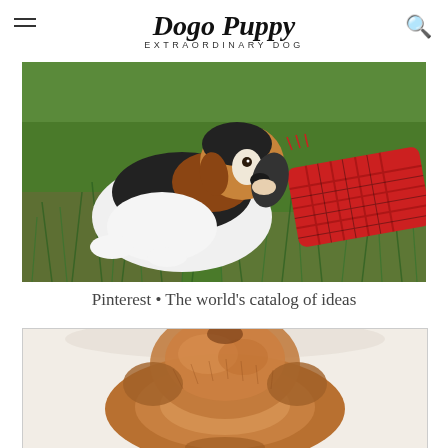Dogo Puppy — EXTRAORDINARY DOG
[Figure (photo): A tricolor beagle puppy on green grass, chewing on a red plaid toy]
Pinterest • The world's catalog of ideas
[Figure (photo): Close-up top view of a fluffy brown/golden puppy on a white background, showing the top of its head and back]